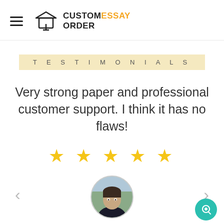CUSTOM ESSAY ORDER
TESTIMONIALS
Very strong paper and professional customer support. I think it has no flaws!
[Figure (other): Five gold star rating icons]
[Figure (photo): Circular avatar photo of a young man]